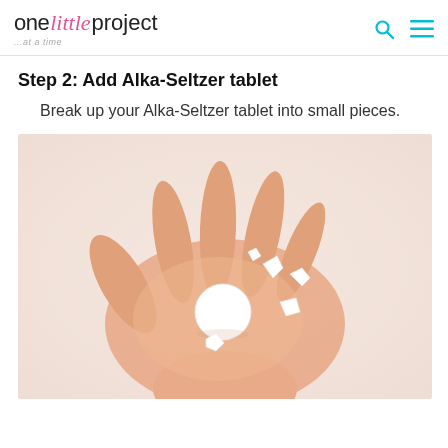one little project ...at a time
Step 2: Add Alka-Seltzer tablet
Break up your Alka-Seltzer tablet into small pieces.
[Figure (photo): A hand held open, palm up, with several broken white Alka-Seltzer tablet pieces resting on it. One large round piece and several smaller irregular pieces are visible against a light pinkish-white background.]